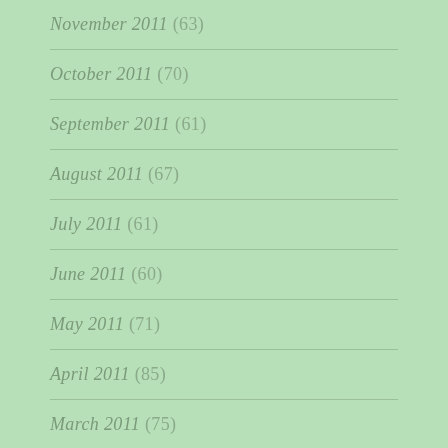November 2011 (63)
October 2011 (70)
September 2011 (61)
August 2011 (67)
July 2011 (61)
June 2011 (60)
May 2011 (71)
April 2011 (85)
March 2011 (75)
February 2011 (55)
January 2011 (64)